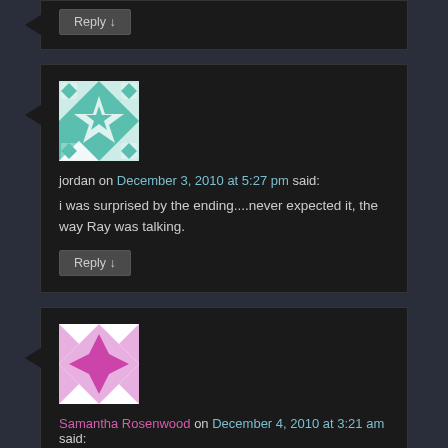[Figure (other): Reply button at top of page (partial comment box)]
jordan on December 3, 2010 at 5:27 pm said:
i was surprised by the ending....never expected it, the way Ray was talking.
[Figure (other): Reply button in jordan's comment]
[Figure (other): Avatar for Samantha Rosenwood - pink/magenta geometric quilting pattern]
Samantha Rosenwood on December 4, 2010 at 3:21 am said: